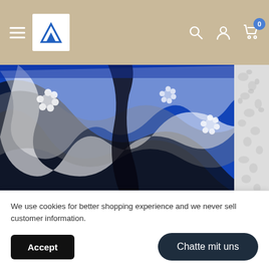Navigation header with hamburger menu, logo, search, account, and cart icons
[Figure (photo): Close-up of blue, black, and white floral patterned swim shorts fabric with tropical print design]
☐Brand Name:GCWHFL
We use cookies for better shopping experience and we never sell customer information.
Accept | Chatte mit uns